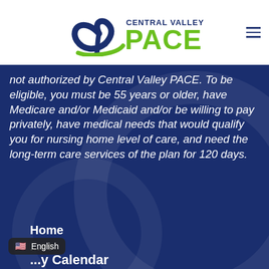[Figure (logo): Central Valley PACE logo with stylized blue heart/hands icon and green PACE text]
not authorized by Central Valley PACE. To be eligible, you must be 55 years or older, have Medicare and/or Medicaid and/or be willing to pay privately, have medical needs that would qualify you for nursing home level of care, and need the long-term care services of the plan for 120 days.
Home
...es
...y Calendar